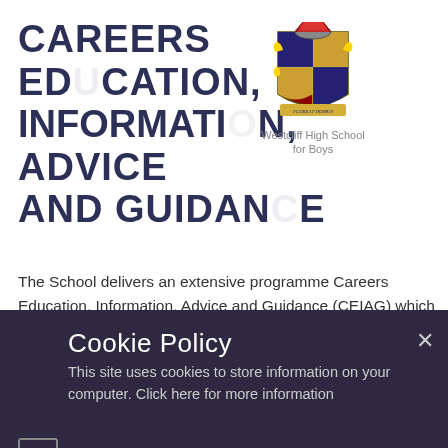CAREERS EDUCATION, INFORMATION, ADVICE AND GUIDANCE
[Figure (logo): Westcliff High School for Boys coat of arms / crest logo with school name below]
The School delivers an extensive programme Careers Education, Information, Advice and Guidance (CEIAG) which is embedded across pupils' education at WHSB. It does not simply take place as part of bespoke or one off events. The School employs a dedicated Careers
Cookie Policy
This site uses cookies to store information on your computer. Click here for more information
Allow Cookies   Deny Cookies